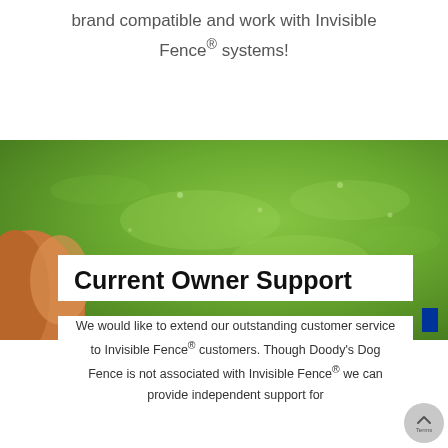brand compatible and work with Invisible Fence® systems!
[Figure (photo): Close-up photo of a dog (corgi/beagle mix) against a blurred green grass background. The dog's ear and head are visible on the left side. A white card overlays the lower portion.]
Current Owner Support
We would like to extend our outstanding customer service to Invisible Fence® customers. Though Doody's Dog Fence is not associated with Invisible Fence® we can provide independent support for